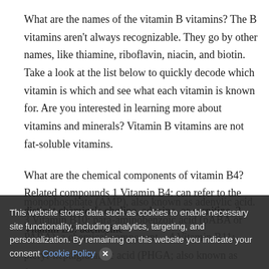What are the names of the vitamin B vitamins? The B vitamins aren't always recognizable. They go by other names, like thiamine, riboflavin, niacin, and biotin. Take a look at the list below to quickly decode which vitamin is which and see what each vitamin is known for. Are you interested in learning more about vitamins and minerals? Vitamin B vitamins are not fat-soluble vitamins.
What are the chemical components of vitamin B4? Related compounds 1 Vitamin B4: can refer to the distinct chemicals choline, adenine, or carnitine. 2 Vitamin B8: adenosine monophosphate (AMP), also known as adenylic acid. 3 Vitamin B10: para-aminobenzoic acid (pABA or PABA), a chemical component... 4 Vitamin B11: pteryl-heptaglutamic acid (PHGA; also known as factor). 5 Vitamin B13: orotic acid.
This website stores data such as cookies to enable necessary site functionality, including analytics, targeting, and personalization. By remaining on this website you indicate your consent Cookie Policy